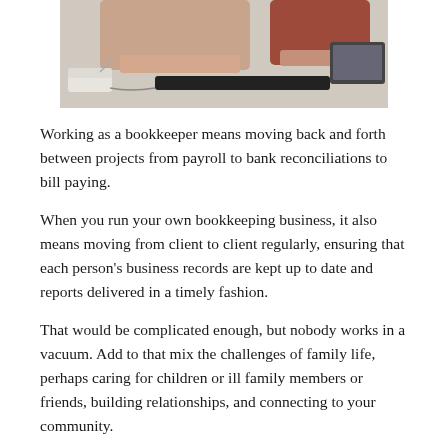[Figure (photo): Photo of people working at a desk with a telephone, keyboard, and laptop visible]
Working as a bookkeeper means moving back and forth between projects from payroll to bank reconciliations to bill paying.
When you run your own bookkeeping business, it also means moving from client to client regularly, ensuring that each person's business records are kept up to date and reports delivered in a timely fashion.
That would be complicated enough, but nobody works in a vacuum. Add to that mix the challenges of family life, perhaps caring for children or ill family members or friends, building relationships, and connecting to your community.
It is understandable if there are days you feel like the circus performer keeping all the china plates twirling simultaneously overhead. One moment of inattention means a plate will come crashing down and break.